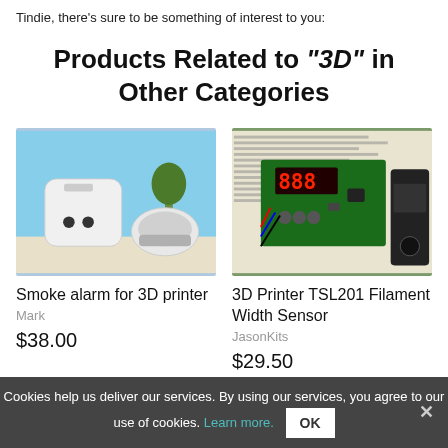Tindie, there's sure to be something of interest to you:
Products Related to "3D" in Other Categories
[Figure (photo): White smart plug and white motion sensor/smoke detector device on a surface outdoors]
Smoke alarm for 3D printer
Mark
$38.00
[Figure (photo): Circuit board with red LED display and wiring, showing a 3D printer filament width sensor module]
3D Printer TSL201 Filament Width Sensor
JasonKits
$29.50
Cookies help us deliver our services. By using our services, you agree to our use of cookies. Learn more.